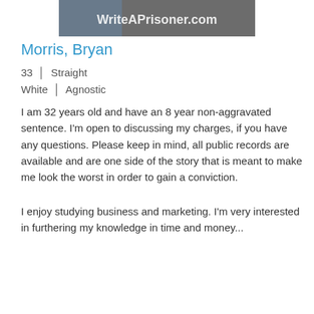[Figure (screenshot): WriteAPrisoner.com website header banner with logo text]
Morris, Bryan
33 | Straight
White | Agnostic
I am 32 years old and have an 8 year non-aggravated sentence. I'm open to discussing my charges, if you have any questions. Please keep in mind, all public records are available and are one side of the story that is meant to make me look the worst in order to gain a conviction.
I enjoy studying business and marketing. I'm very interested in furthering my knowledge in time and money...